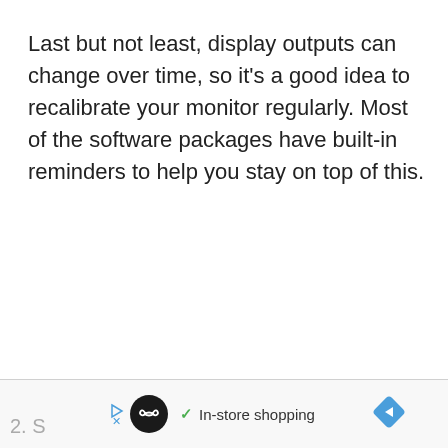Last but not least, display outputs can change over time, so it's a good idea to recalibrate your monitor regularly. Most of the software packages have built-in reminders to help you stay on top of this.
2. S  [icons] ✓ In-store shopping [arrow]